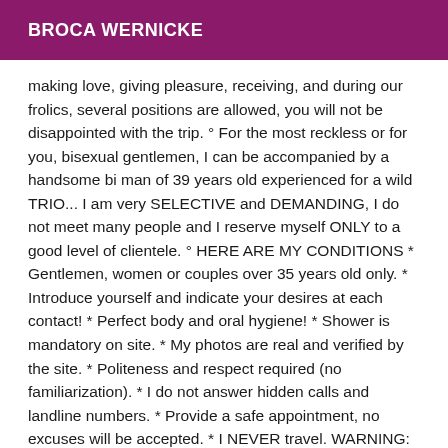BROCA WERNICKE
making love, giving pleasure, receiving, and during our frolics, several positions are allowed, you will not be disappointed with the trip. ° For the most reckless or for you, bisexual gentlemen, I can be accompanied by a handsome bi man of 39 years old experienced for a wild TRIO... I am very SELECTIVE and DEMANDING, I do not meet many people and I reserve myself ONLY to a good level of clientele. ° HERE ARE MY CONDITIONS * Gentlemen, women or couples over 35 years old only. * Introduce yourself and indicate your desires at each contact! * Perfect body and oral hygiene! * Shower is mandatory on site. * My photos are real and verified by the site. * Politeness and respect required (no familiarization). * I do not answer hidden calls and landline numbers. * Provide a safe appointment, no excuses will be accepted. * I NEVER travel. WARNING: read my conditions before contacting me, they are in no way negotiable. I reserve the right to refuse any meeting